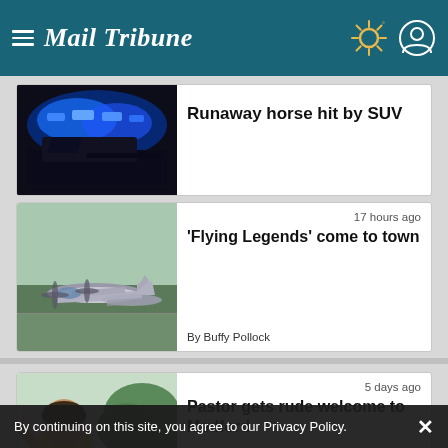Mail Tribune
[Figure (screenshot): News article card: police car with blue flashing lights]
Runaway horse hit by SUV
[Figure (screenshot): News article card: military airplane on tarmac]
17 hours ago
'Flying Legends' come to town
By Buffy Pollock
[Figure (screenshot): News article card: woman outdoors raising hand]
5 days ago
Pastor gets rude welcome to Medford
By continuing on this site, you agree to our Privacy Policy.